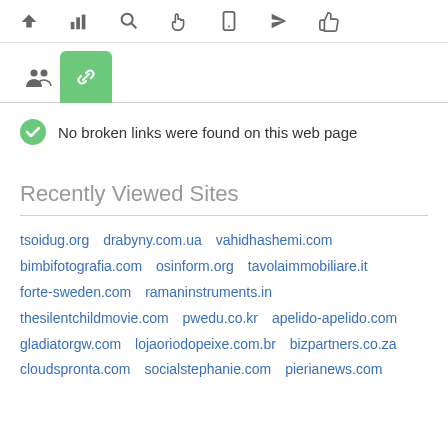[Figure (screenshot): Toolbar with icons: up arrow, bar chart, search/magnifier, hand/cursor, mobile phone, send/navigation arrow, thumbs up]
[Figure (screenshot): Tab row with people icon and active green tab showing a chain/link icon]
No broken links were found on this web page
Recently Viewed Sites
tsoidug.org
drabyny.com.ua
vahidhashemi.com
bimbifotografia.com
osinform.org
tavolaimmobiliare.it
forte-sweden.com
ramaninstruments.in
thesilentchildmovie.com
pwedu.co.kr
apelido-apelido.com
gladiatorgw.com
lojaoriodopeixe.com.br
bizpartners.co.za
cloudspronta.com
socialstephanie.com
pierianews.com